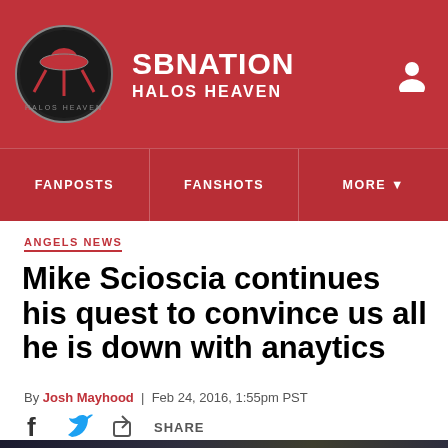SB NATION / HALOS HEAVEN
FANPOSTS | FANSHOTS | MORE
ANGELS NEWS
Mike Scioscia continues his quest to convince us all he is down with anaytics
By Josh Mayhood | Feb 24, 2016, 1:55pm PST
SHARE
[Figure (photo): Bottom portion of article photo showing crowd/event scene]